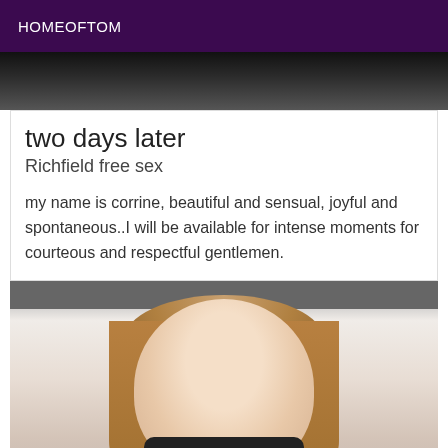HOMEOFTOM
[Figure (photo): Dark cropped photo strip at the top of a listing card]
two days later
Richfield free sex
my name is corrine, beautiful and sensual, joyful and spontaneous..I will be available for intense moments for courteous and respectful gentlemen.
[Figure (photo): Photo of a young woman with long light-brown hair, looking forward, wearing a dark top]